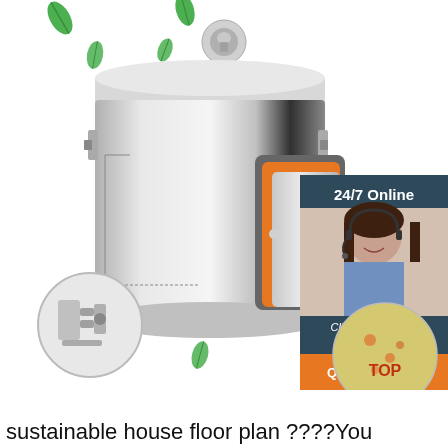[Figure (photo): Product advertisement image showing a stainless steel insulated food container/barrel with locking clips, cross-section diagram showing inner layers (grey, orange, silver), a circular detail showing the locking mechanism, green leaf decorations scattered around, a customer service panel showing '24/7 Online' with a woman wearing a headset, 'Click here for free chat!' text, 'QUOTATION' orange button, and a circular image of food content labeled 'TOP' in the bottom right.]
sustainable house floor plan ????You